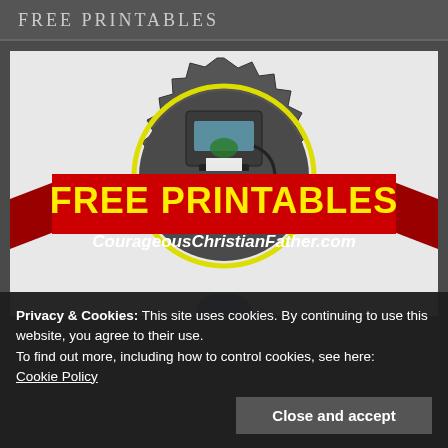FREE PRINTABLES
[Figure (illustration): Illustration of a printer with a gear/badge design, three yellow stars, and a red banner ribbon across the middle. The yellow banner text reads 'FREE PRINTABLES' and below it in white italic text 'CourageousChristianFather.com']
Privacy & Cookies: This site uses cookies. By continuing to use this website, you agree to their use.
To find out more, including how to control cookies, see here: Cookie Policy
Close and accept